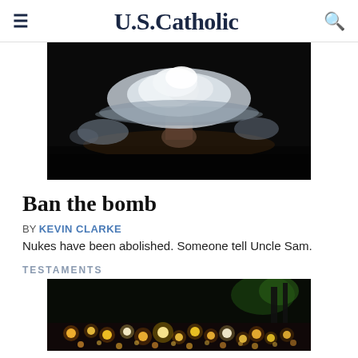U.S.Catholic
[Figure (photo): Nuclear mushroom cloud explosion photograph, dark background with white cloud formation]
Ban the bomb
BY KEVIN CLARKE
Nukes have been abolished. Someone tell Uncle Sam.
TESTAMENTS
[Figure (photo): Night scene with candlelight vigil, colorful lights in the dark]